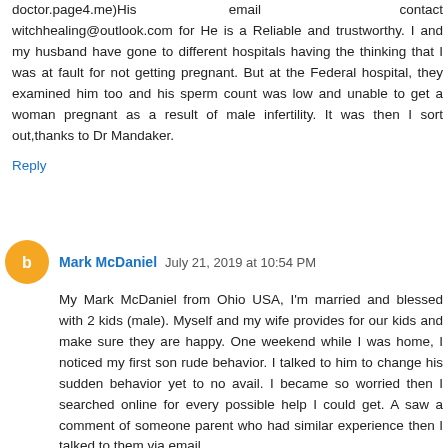doctor.page4.me)His email contact witchhealing@outlook.com for He is a Reliable and trustworthy. I and my husband have gone to different hospitals having the thinking that I was at fault for not getting pregnant. But at the Federal hospital, they examined him too and his sperm count was low and unable to get a woman pregnant as a result of male infertility. It was then I sort out,thanks to Dr Mandaker.
Reply
Mark McDaniel  July 21, 2019 at 10:54 PM
My Mark McDaniel from Ohio USA, I'm married and blessed with 2 kids (male). Myself and my wife provides for our kids and make sure they are happy. One weekend while I was home, I noticed my first son rude behavior. I talked to him to change his sudden behavior yet to no avail. I became so worried then I searched online for every possible help I could get. A saw a comment of someone parent who had similar experience then I talked to them via email. They told me about DR Odinani Owoll the great spell castor